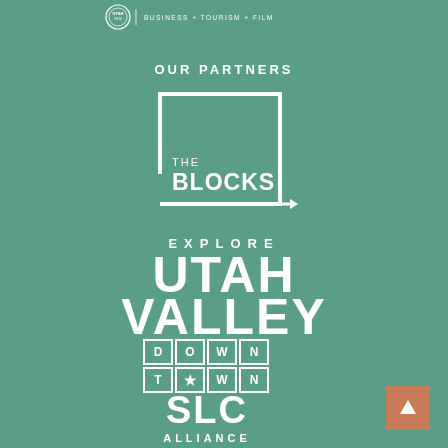BUSINESS + TOURISM + FILM
OUR PARTNERS
[Figure (logo): The Blocks logo: square outline with arrow at bottom right corner, text 'THE BLOCKS' inside lower left]
[Figure (logo): Explore Utah Valley logo: 'EXPLORE' in spaced caps above large bold 'UTAH VALLEY']
[Figure (logo): Downtown SLC Alliance logo: grid of squares spelling DOWN-TOWN with star in center, large SLC text below, ALLIANCE text at bottom]
[Figure (logo): Up arrow button in terracotta/salmon color square]